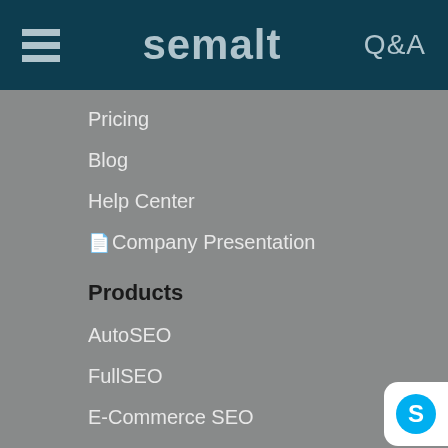semalt Q&A
Pricing
Blog
Help Center
Company Presentation
Products
AutoSEO
FullSEO
E-Commerce SEO
Analytics
SSL
Reseller program
Free SEO Consultation
Success Cases
[Figure (illustration): Social media contact buttons on right side: Skype (blue), WhatsApp (green), Telegram (blue)]